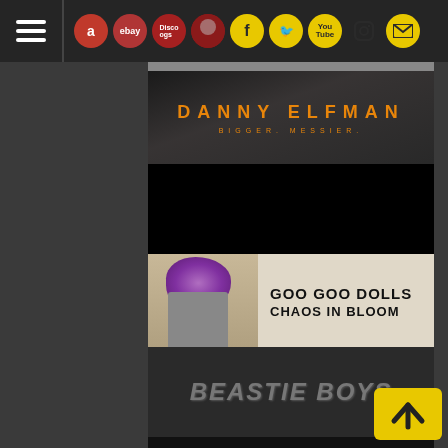Navigation bar with hamburger menu and icons: Amazon, eBay, Discogs, HM, Facebook, Twitter, YouTube, Instagram, Mail
[Figure (illustration): Danny Elfman - Bigger. Messier. promotional banner with orange text on dark background with face]
[Figure (illustration): Black promotional banner]
[Figure (illustration): Goo Goo Dolls - Chaos In Bloom album banner with floral figure on cream background]
[Figure (illustration): Beastie Boys text logo banner on dark background]
[Figure (illustration): Three colored vinyl records - teal/black, orange, and green - on black background]